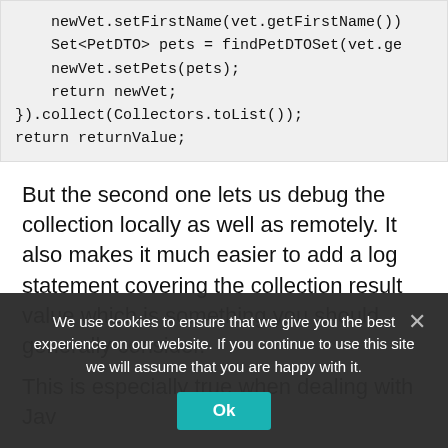[Figure (screenshot): Code block showing Java code snippet: newVet.setFirstName(vet.getFirstName()), Set<PetDTO> pets = findPetDTOSet(vet.ge, newVet.setPets(pets);, return newVet;, }).collect(Collectors.toList());, return returnValue;]
But the second one lets us debug the collection locally as well as remotely. It also makes it much easier to add a log statement covering the collection result value which is something you should generally consider.
This is especially true when dealing with Jav...
We use cookies to ensure that we give you the best experience on our website. If you continue to use this site we will assume that you are happy with it.